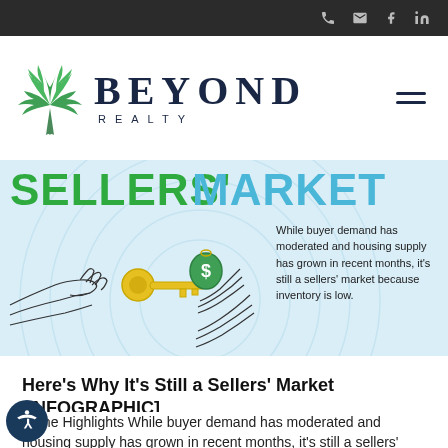Beyond Realty — navigation bar with phone, email, facebook, linkedin icons
[Figure (logo): Beyond Realty logo: palm tree icon on left, BEYOND in large serif bold navy font, REALTY in spaced sans-serif below. Hamburger menu icon on right.]
[Figure (infographic): Sellers' Market infographic banner with light blue background and circular wave pattern. 'SELLERS'' in large bold green text and 'MARKET' in large bold light blue text at top. Illustration of hands reaching for a key with dollar sign tag. Text block on right reads: 'While buyer demand has moderated and housing supply has grown in recent months, it's still a sellers' market because inventory is low.']
Here's Why It's Still a Sellers' Market [INFOGRAPHIC]
Some Highlights While buyer demand has moderated and housing supply has grown in recent months, it's still a sellers'